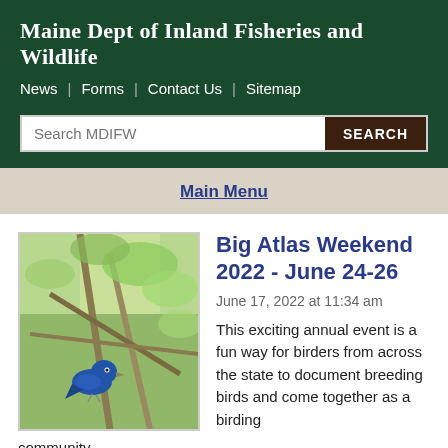Maine Dept of Inland Fisheries and Wildlife
News | Forms | Contact Us | Sitemap
Search MDIFW  SEARCH
Main Menu
[Figure (photo): Blue bird perched on a branch with green foliage in background]
Big Atlas Weekend 2022 - June 24-26
June 17, 2022 at 11:34 am
This exciting annual event is a fun way for birders from across the state to document breeding birds and come together as a birding community.